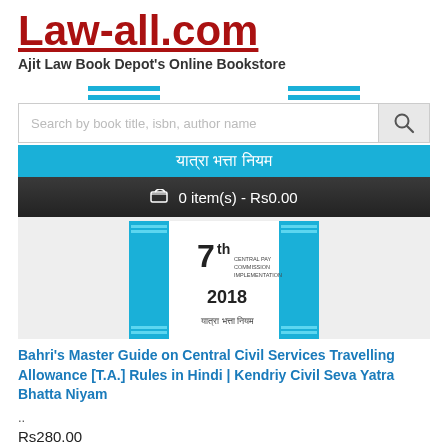Law-all.com
Ajit Law Book Depot's Online Bookstore
Search by book title, isbn, author name
0 item(s) - Rs0.00
[Figure (photo): Book cover for 7th Central Pay Commission Implementation 2018, Kendriya Seva Yatra Bhatta Niyam, blue and white cover]
Bahri's Master Guide on Central Civil Services Travelling Allowance [T.A.] Rules in Hindi | Kendriy Civil Seva Yatra Bhatta Niyam
..
Rs280.00